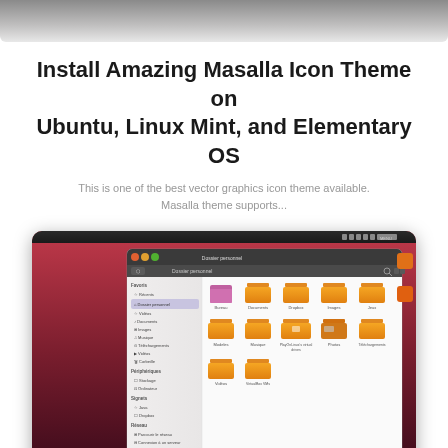[Figure (other): Top gray gradient bar decorative element]
Install Amazing Masalla Icon Theme on Ubuntu, Linux Mint, and Elementary OS
This is one of the best vector graphics icon theme available. Masalla theme supports...
[Figure (screenshot): Screenshot of Ubuntu Linux desktop showing the Masalla icon theme in a file manager window (Dossier personnel). The desktop has a red/pink gradient background. The file manager shows orange folder icons for Bureau, Documents, Dropbox, Images, Jeux, Modeles, Musique, PlayOnLinux's virtual drives, Photos, Telechargements, Videos, VirtualBox VMs. Left sidebar shows Favoris, Peripheriques, Signets, Reseau sections.]